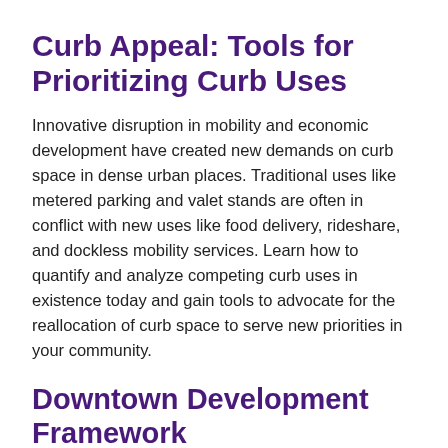Curb Appeal: Tools for Prioritizing Curb Uses
Innovative disruption in mobility and economic development have created new demands on curb space in dense urban places. Traditional uses like metered parking and valet stands are often in conflict with new uses like food delivery, rideshare, and dockless mobility services. Learn how to quantify and analyze competing curb uses in existence today and gain tools to advocate for the reallocation of curb space to serve new priorities in your community.
Downtown Development Framework
The Downtown Development Framework (DDF) is